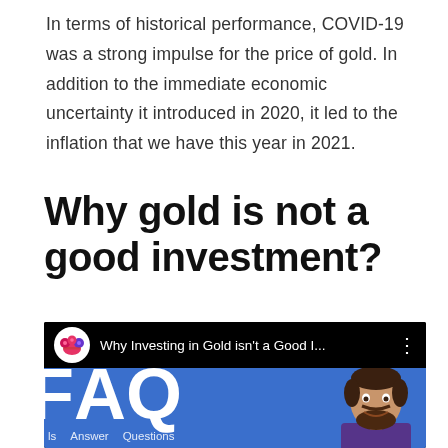In terms of historical performance, COVID-19 was a strong impulse for the price of gold. In addition to the immediate economic uncertainty it introduced in 2020, it led to the inflation that we have this year in 2021.
Why gold is not a good investment?
[Figure (screenshot): YouTube video thumbnail showing title 'Why Investing in Gold isn't a Good I...' with a jester logo icon, and a blue background with large FAQ letters and a man's face on the right side, with 'Is Answer Questions' text at the bottom.]